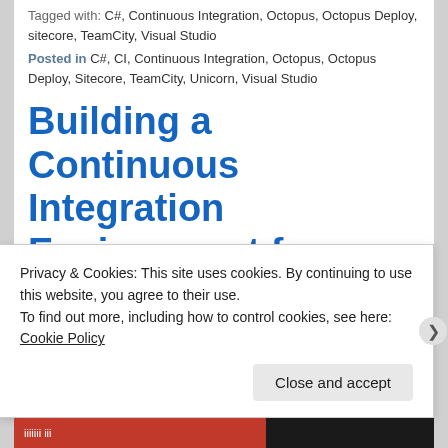Tagged with: C#, Continuous Integration, Octopus, Octopus Deploy, sitecore, TeamCity, Visual Studio
Posted in C#, CI, Continuous Integration, Octopus, Octopus Deploy, Sitecore, TeamCity, Unicorn, Visual Studio
Building a Continuous Integration Environment for Sitecore Part 7 –
Privacy & Cookies: This site uses cookies. By continuing to use this website, you agree to their use.
To find out more, including how to control cookies, see here: Cookie Policy
Close and accept